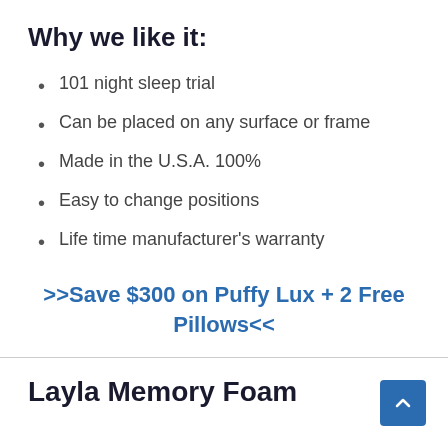Why we like it:
101 night sleep trial
Can be placed on any surface or frame
Made in the U.S.A. 100%
Easy to change positions
Life time manufacturer's warranty
>>Save $300 on Puffy Lux + 2 Free Pillows<<
Layla Memory Foam